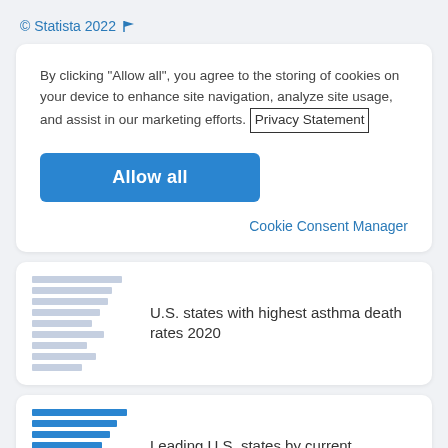© Statista 2022 🏴
By clicking "Allow all", you agree to the storing of cookies on your device to enhance site navigation, analyze site usage, and assist in our marketing efforts. Privacy Statement
Allow all
Cookie Consent Manager
U.S. states with highest asthma death rates 2020
Leading U.S. states by current prevalence